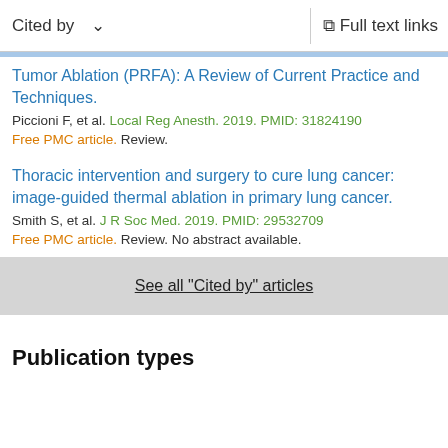Cited by   Full text links
Tumor Ablation (PRFA): A Review of Current Practice and Techniques.
Piccioni F, et al. Local Reg Anesth. 2019. PMID: 31824190
Free PMC article. Review.
Thoracic intervention and surgery to cure lung cancer: image-guided thermal ablation in primary lung cancer.
Smith S, et al. J R Soc Med. 2019. PMID: 29532709
Free PMC article. Review. No abstract available.
See all "Cited by" articles
Publication types